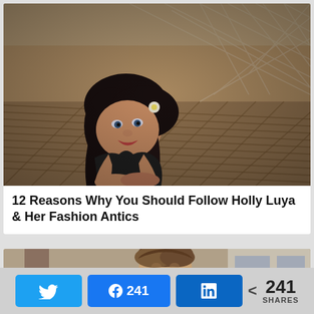[Figure (photo): Woman in black bikini lying on a hammock at a beach, looking at camera, dark hair with a white flower]
12 Reasons Why You Should Follow Holly Luya & Her Fashion Antics
[Figure (photo): Partial view of a man with brown hair outdoors, with a blue rectangle in the bottom right corner]
241
SHARES
241